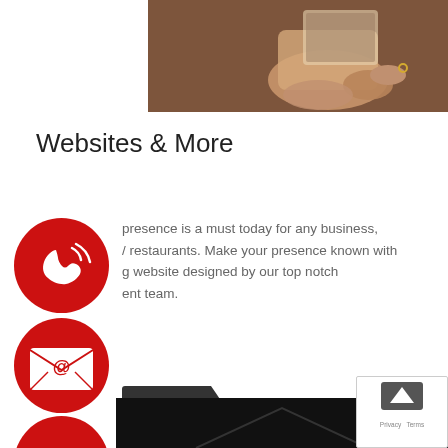[Figure (photo): Person holding a tablet/menu, showing hands and partial background in warm tones]
Websites & More
[Figure (illustration): Red circle phone/call icon with signal waves]
[Figure (illustration): Red circle email icon with @ symbol]
[Figure (illustration): Red circle Facebook icon with letter f]
presence is a must today for any business, / restaurants. Make your presence known with g website designed by our top notch ent team.
MORE
[Figure (photo): Dark bottom strip image, partially visible]
[Figure (other): reCAPTCHA overlay with up arrow button, Privacy and Terms links]